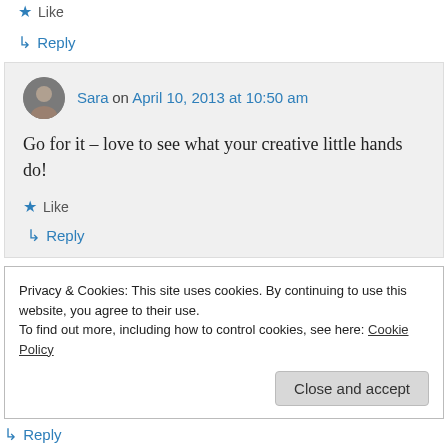★ Like
↳ Reply
Sara on April 10, 2013 at 10:50 am
Go for it – love to see what your creative little hands do!
★ Like
↳ Reply
Privacy & Cookies: This site uses cookies. By continuing to use this website, you agree to their use.
To find out more, including how to control cookies, see here: Cookie Policy
Close and accept
↳ Reply